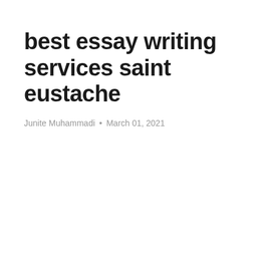best essay writing services saint eustache
Junite Muhammadi • March 01, 2021